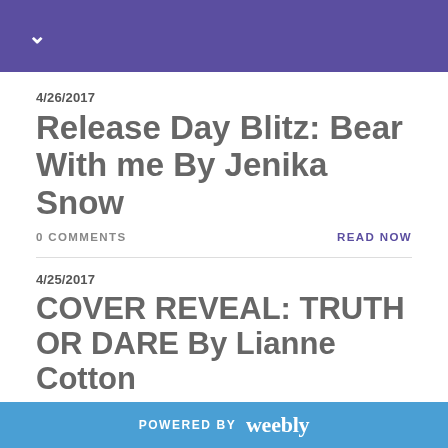4/26/2017
Release Day Blitz: Bear With me By Jenika Snow
0 COMMENTS
READ NOW
4/25/2017
COVER REVEAL: TRUTH OR DARE By Lianne Cotton
0 COMMENTS
READ NOW
POWERED BY weebly